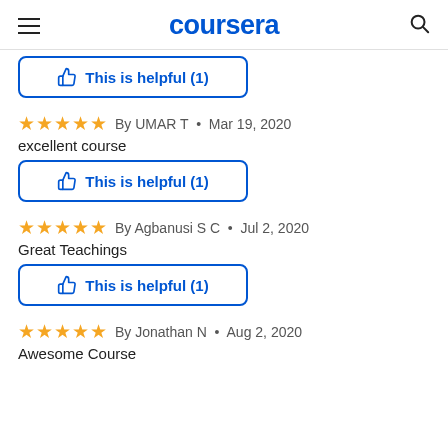coursera
[Figure (screenshot): Partially visible 'This is helpful (1)' button from previous review]
By UMAR T • Mar 19, 2020
excellent course
[Figure (screenshot): This is helpful (1) button]
By Agbanusi S C • Jul 2, 2020
Great Teachings
[Figure (screenshot): This is helpful (1) button]
By Jonathan N • Aug 2, 2020
Awesome Course